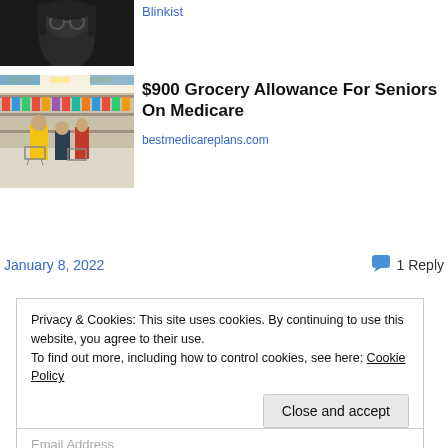[Figure (photo): Black and white photo of person with glasses and long hair (cropped, top portion visible)]
Blinkist
[Figure (photo): Photo of shoppers pushing carts in a grocery store aisle]
$900 Grocery Allowance For Seniors On Medicare
bestmedicareplans.com
January 8, 2022
1 Reply
Privacy & Cookies: This site uses cookies. By continuing to use this website, you agree to their use.
To find out more, including how to control cookies, see here: Cookie Policy
Close and accept
Email Address